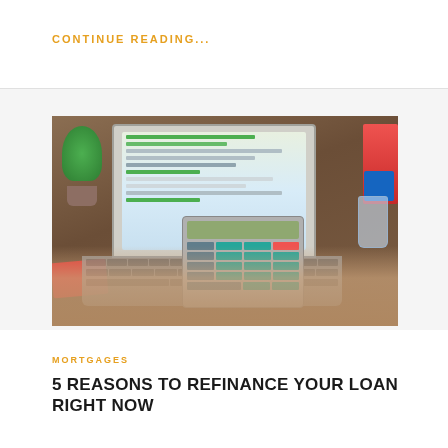CONTINUE READING...
[Figure (photo): Person using a calculator next to an open laptop displaying a spreadsheet, on a wooden desk with plant, red binder, and glass of water.]
MORTGAGES
5 REASONS TO REFINANCE YOUR LOAN RIGHT NOW